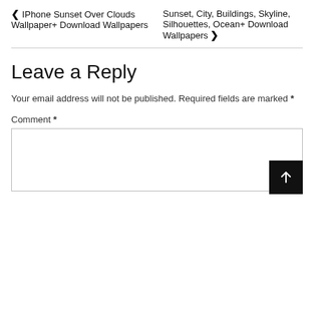❮ IPhone Sunset Over Clouds Wallpaper+ Download Wallpapers
Sunset, City, Buildings, Skyline, Silhouettes, Ocean+ Download Wallpapers ❯
Leave a Reply
Your email address will not be published. Required fields are marked *
Comment *